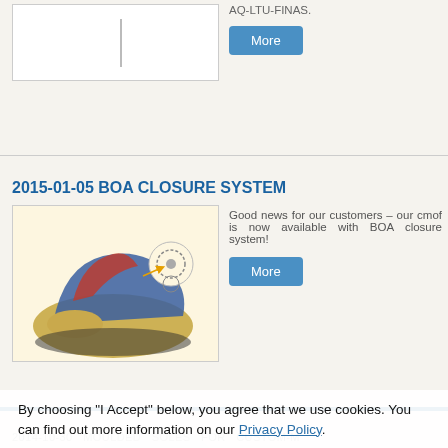AQ-LTU-FINAS.
[Figure (photo): Product image box with a vertical bar, top section]
2015-01-05 BOA CLOSURE SYSTEM
[Figure (photo): Hiking shoe with colorful design (blue, red, tan) on a light yellow background with a diagram/arrow showing BOA closure system detail]
Good news for our customers – our cmof is now available with BOA closure system!
By choosing “I Accept” below, you agree that we use cookies. You can find out more information on our Privacy Policy.
2014-10-30  MOULDED  SOLES  FOR  CUSTOM-M